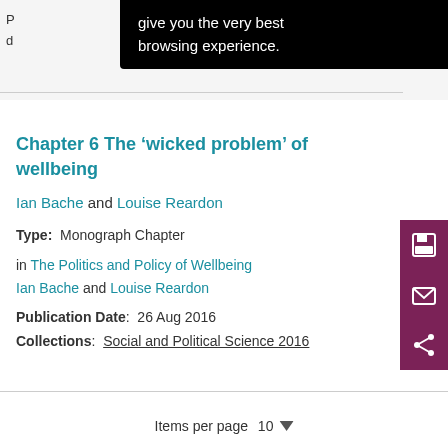[Figure (screenshot): Cookie banner overlay with black background showing text: 'give you the very best browsing experience.']
Chapter 6 The ‘wicked problem’ of wellbeing
Ian Bache and Louise Reardon
Type: Monograph Chapter
in The Politics and Policy of Wellbeing Ian Bache and Louise Reardon
Publication Date: 26 Aug 2016
Collections: Social and Political Science 2016
Items per page 10